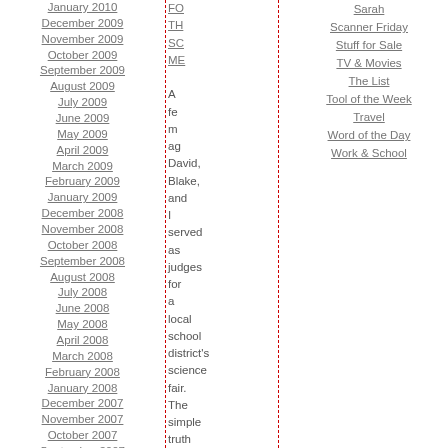January 2010
December 2009
November 2009
October 2009
September 2009
August 2009
July 2009
June 2009
May 2009
April 2009
March 2009
February 2009
January 2009
December 2008
November 2008
October 2008
September 2008
August 2008
July 2008
June 2008
May 2008
April 2008
March 2008
February 2008
January 2008
December 2007
November 2007
October 2007
September 2007
August 2007
July 2007
June 2007
FO TH SC ME A few months ago, David, Blake, and I served as judges for a local school district's science fair. The simple truth is that we ad
Sarah
Scanner Friday
Stuff for Sale
TV & Movies
The List
Tool of the Week
Travel
Word of the Day
Work & School